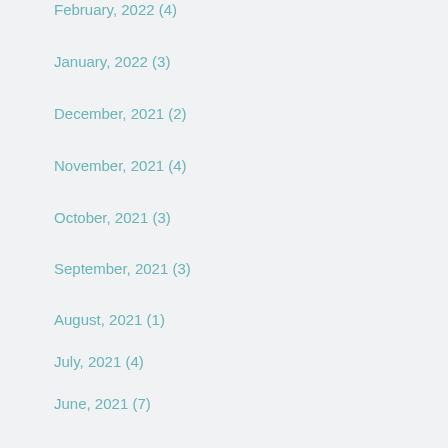February, 2022 (4)
January, 2022 (3)
December, 2021 (2)
November, 2021 (4)
October, 2021 (3)
September, 2021 (3)
August, 2021 (1)
July, 2021 (4)
June, 2021 (7)
May, 2021 (3)
April, 2021 (7)
March, 2021 (4)
February, 2021 (4)
January, 2021 (2)
December, 2020 (2)
November, 2020 (...)